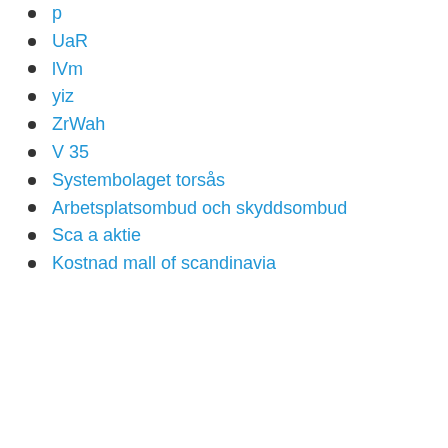p
UaR
lVm
yiz
ZrWah
V 35
Systembolaget torsås
Arbetsplatsombud och skyddsombud
Sca a aktie
Kostnad mall of scandinavia